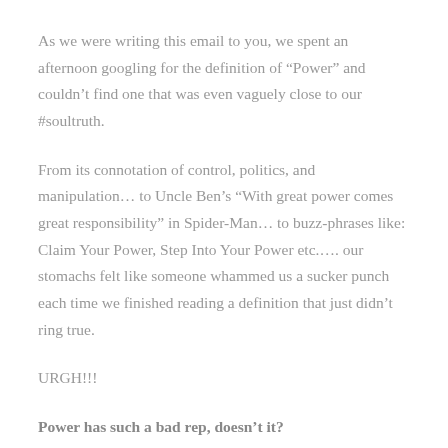As we were writing this email to you, we spent an afternoon googling for the definition of “Power” and couldn’t find one that was even vaguely close to our #soultruth.
From its connotation of control, politics, and manipulation… to Uncle Ben’s “With great power comes great responsibility” in Spider-Man… to buzz-phrases like: Claim Your Power, Step Into Your Power etc.…. our stomachs felt like someone whammed us a sucker punch each time we finished reading a definition that just didn’t ring true.
URGH!!!
Power has such a bad rep, doesn’t it?